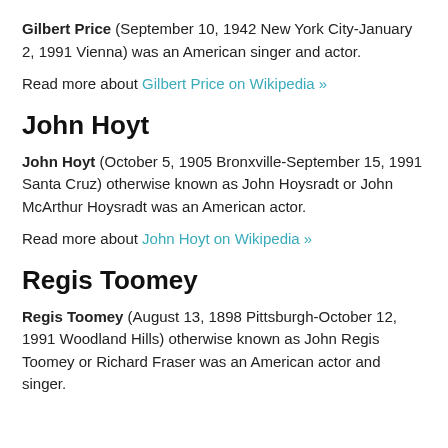Gilbert Price (September 10, 1942 New York City-January 2, 1991 Vienna) was an American singer and actor.
Read more about Gilbert Price on Wikipedia »
John Hoyt
John Hoyt (October 5, 1905 Bronxville-September 15, 1991 Santa Cruz) otherwise known as John Hoysradt or John McArthur Hoysradt was an American actor.
Read more about John Hoyt on Wikipedia »
Regis Toomey
Regis Toomey (August 13, 1898 Pittsburgh-October 12, 1991 Woodland Hills) otherwise known as John Regis Toomey or Richard Fraser was an American actor and singer.